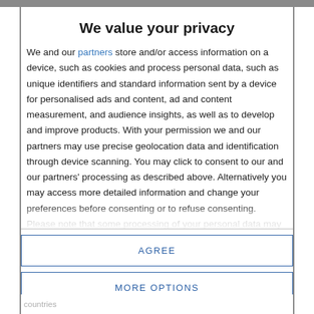We value your privacy
We and our partners store and/or access information on a device, such as cookies and process personal data, such as unique identifiers and standard information sent by a device for personalised ads and content, ad and content measurement, and audience insights, as well as to develop and improve products. With your permission we and our partners may use precise geolocation data and identification through device scanning. You may click to consent to our and our partners' processing as described above. Alternatively you may access more detailed information and change your preferences before consenting or to refuse consenting. Please note that some processing of your personal data may not require your consent, but you have a right to
AGREE
MORE OPTIONS
countries